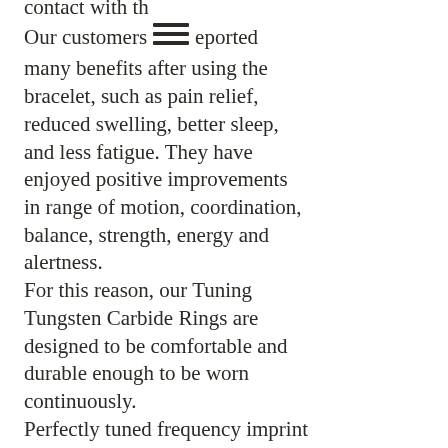contact with th[e] Our customers [have r]eported many benefits after using the bracelet, such as pain relief, reduced swelling, better sleep, and less fatigue.  They have enjoyed positive improvements in range of motion, coordination, balance, strength, energy and alertness. For this reason, our Tuning Tungsten Carbide Rings are designed to be comfortable and durable enough to be worn continuously. Perfectly tuned frequency imprint on every Tuning Ring helps your body resist the constant bombardment of harmful